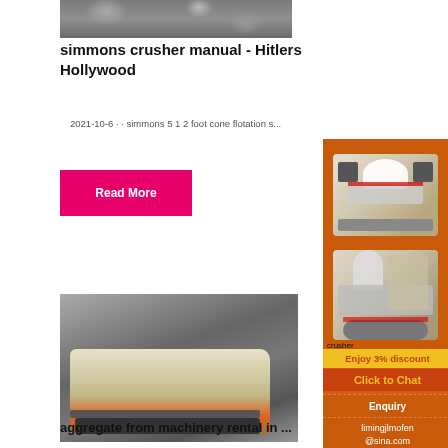[Figure (photo): Gravel/rock aggregate photo at top of article]
simmons crusher manual - Hitlers Hollywood
2021-10-6 · · simmons 5 1 2 foot cone flotation s...
Read More
[Figure (photo): Mining machinery / mobile crusher on tracks in rocky terrain]
[Figure (illustration): Orange sidebar advertisement with crusher machinery illustrations, Enjoy 3% discount, Click to Chat, Enquiry, limingjlmofen@sina.com]
aggregate from machinery rental in ...